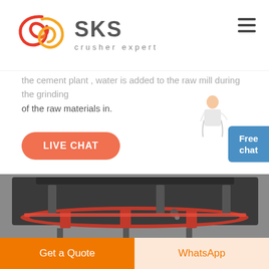[Figure (logo): SKS Crusher Expert logo with red circular brush-stroke icon and grey SKS text with 'crusher expert' tagline]
the cement plant , water is added to the raw mill during the grinding of the raw materials in.
LIVE CHAT
[Figure (photo): Industrial cone crusher machine, dark grey metal structure with red trim ring, taken in a factory setting]
Get a Quote
WhatsApp